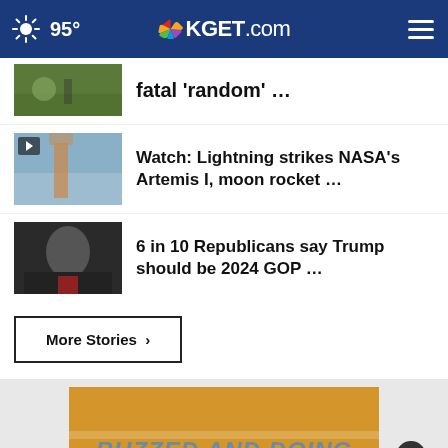95° KGET.com
fatal 'random' …
Watch: Lightning strikes NASA's Artemis I, moon rocket …
6 in 10 Republicans say Trump should be 2024 GOP …
More Stories ›
[Figure (screenshot): Advertisement banner showing 'BUZZED AND DOING' text with golden/yellow background]
THESHELTERPETPROJECT.ORG